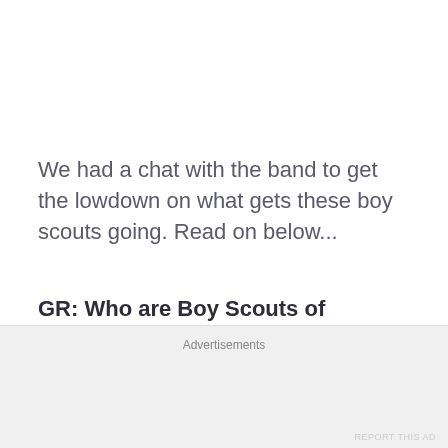We had a chat with the band to get the lowdown on what gets these boy scouts going. Read on below...
GR: Who are Boy Scouts of Destruction?
Morgan: “We’re a punk, metal, hard rock
Advertisements